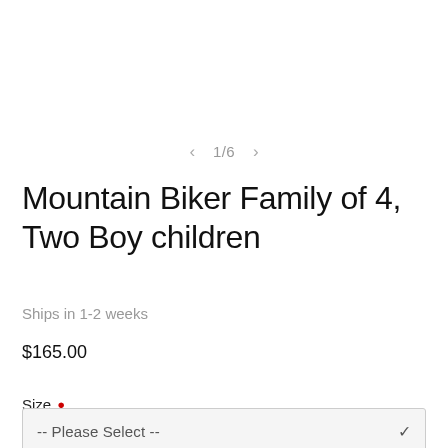[Figure (other): Product image carousel placeholder area (empty/white image area with navigation controls showing 1/6)]
Mountain Biker Family of 4, Two Boy children
Ships in 1-2 weeks
$165.00
Size *
-- Please Select --